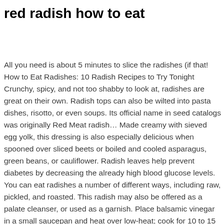red radish how to eat
All you need is about 5 minutes to slice the radishes (if that! How to Eat Radishes: 10 Radish Recipes to Try Tonight Crunchy, spicy, and not too shabby to look at, radishes are great on their own. Radish tops can also be wilted into pasta dishes, risotto, or even soups. Its official name in seed catalogs was originally Red Meat radish… Made creamy with sieved egg yolk, this dressing is also especially delicious when spooned over sliced beets or boiled and cooled asparagus, green beans, or cauliflower. Radish leaves help prevent diabetes by decreasing the already high blood glucose levels. You can eat radishes a number of different ways, including raw, pickled, and roasted. This radish may also be offered as a palate cleanser, or used as a garnish. Place balsamic vinegar in a small saucepan and heat over low-heat; cook for 10 to 15 minutes, or until balsamic… 2. Radishes are best cooked using methods similar to those used for their close relative, the turnip. References. Radish (Raphanus sativus L. leaf) ethanol extract inhibits protein and mRNA expression of ErbB(2) and ErbB(3) in MDA-MB-231 human breast cancer cells. Many